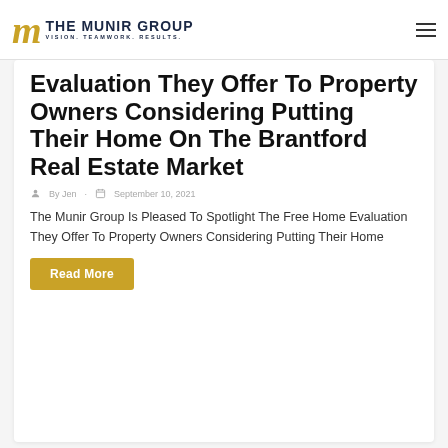THE MUNIR GROUP — VISION. TEAMWORK. RESULTS.
Evaluation They Offer To Property Owners Considering Putting Their Home On The Brantford Real Estate Market
By Jen · September 10, 2021
The Munir Group Is Pleased To Spotlight The Free Home Evaluation They Offer To Property Owners Considering Putting Their Home
Read More